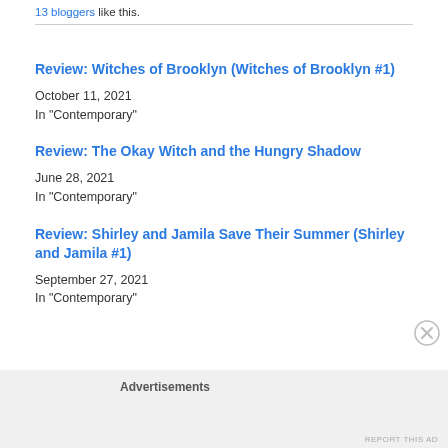13 bloggers like this.
Review: Witches of Brooklyn (Witches of Brooklyn #1)
October 11, 2021
In "Contemporary"
Review: The Okay Witch and the Hungry Shadow
June 28, 2021
In "Contemporary"
Review: Shirley and Jamila Save Their Summer (Shirley and Jamila #1)
September 27, 2021
In "Contemporary"
Advertisements
REPORT THIS AD